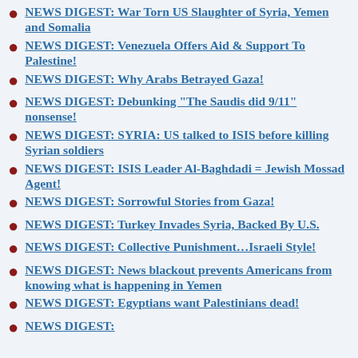NEWS DIGEST: War Torn US Slaughter of Syria, Yemen and Somalia
NEWS DIGEST: Venezuela Offers Aid & Support To Palestine!
NEWS DIGEST: Why Arabs Betrayed Gaza!
NEWS DIGEST: Debunking "The Saudis did 9/11" nonsense!
NEWS DIGEST: SYRIA: US talked to ISIS before killing Syrian soldiers
NEWS DIGEST: ISIS Leader Al-Baghdadi = Jewish Mossad Agent!
NEWS DIGEST: Sorrowful Stories from Gaza!
NEWS DIGEST: Turkey Invades Syria, Backed By U.S.
NEWS DIGEST: Collective Punishment…Israeli Style!
NEWS DIGEST: News blackout prevents Americans from knowing what is happening in Yemen
NEWS DIGEST: Egyptians want Palestinians dead!
NEWS DIGEST: [partially visible]